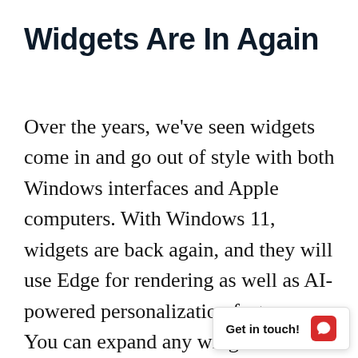Widgets Are In Again
Over the years, we've seen widgets come in and go out of style with both Windows interfaces and Apple computers. With Windows 11, widgets are back again, and they will use Edge for rendering as well as AI-powered personalization features. You can expand any widget to fit the entire screen and use it for tasks such as looking through Photos, scheduling on your Calendar, and org…